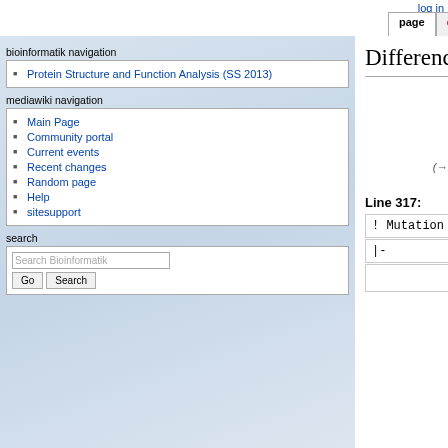log in | page | discussion | view source | history
Protein Structure and Function Analysis (SS 2013)
bioinformatik navigation
mediawiki navigation
Main Page
Community portal
Current events
Recent changes
Random page
Help
sitesupport
search
Difference between revisions of "Molecular Dynamics Analysis GLA"
| Revision as of 00:53, 20 October 2011 | Revision as of 01:46, 20 October 2011 |
| --- | --- |
| Grandke (talk | contribs) | Grandke (talk | contribs) |
| (→Root mean square deviations again) | (→Cluster analysis) |
| ← Older edit | Newer edit → |
| Line 317: | Line 317: |
| ! Mutation 8 | ! Mutation 8 |
| |- | |- |
|  | IRMS distribution |